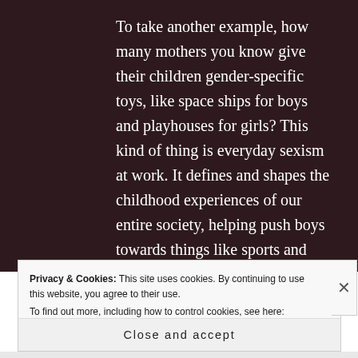To take another example, how many mothers you know give their children gender-specific toys, like space ships for boys and playhouses for girls? This kind of thing is everyday sexism at work. It defines and shapes the childhood experiences of our entire society, helping push boys towards things like sports and science and girls towards teaching and social care. Those professions are legendarily dominated by those respective genders,
Privacy & Cookies: This site uses cookies. By continuing to use this website, you agree to their use.
To find out more, including how to control cookies, see here: Cookie Policy
Close and accept